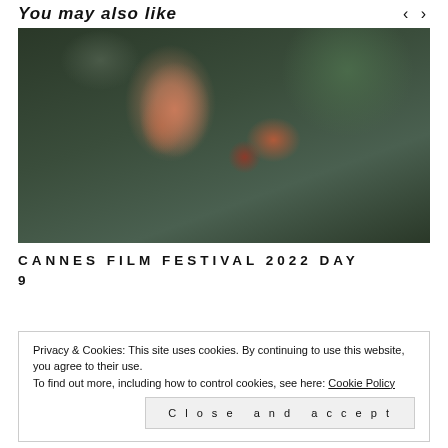You may also like
[Figure (photo): A young man eating a pomegranate outdoors with blurred green foliage background]
CANNES FILM FESTIVAL 2022 DAY 9
Privacy & Cookies: This site uses cookies. By continuing to use this website, you agree to their use.
To find out more, including how to control cookies, see here: Cookie Policy
Close and accept